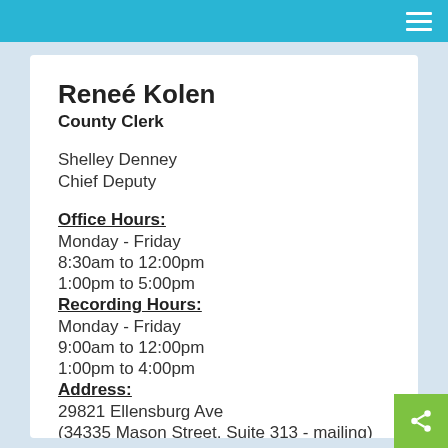Reneé Kolen
County Clerk
Shelley Denney
Chief Deputy
Office Hours:
Monday - Friday
8:30am to 12:00pm
1:00pm to 5:00pm
Recording Hours:
Monday - Friday
9:00am to 12:00pm
1:00pm to 4:00pm
Address:
29821 Ellensburg Ave
(34335 Mason Street, Suite 313 - mailing)